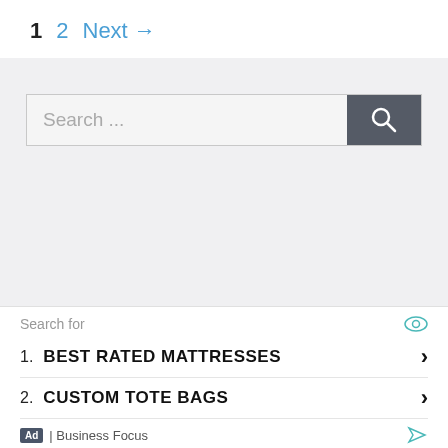1  2  Next →
[Figure (screenshot): Search bar with text input placeholder 'Search ...' and a dark gray search button with magnifying glass icon]
[Figure (screenshot): Gray advertisement area (empty)]
Search for
1. BEST RATED MATTRESSES
2. CUSTOM TOTE BAGS
Ad | Business Focus